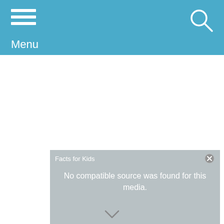Menu
[Figure (screenshot): Media player box with gray background showing 'Facts for Kids' label and error message 'No compatible source was found for this media.']